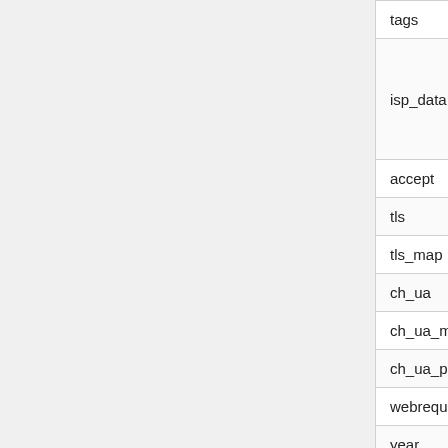| Field | Type |
| --- | --- |
| tags | array<string> |
| isp_data | map<string, string> |
| accept | string |
| tls | string |
| tls_map | string |
| ch_ua | string |
| ch_ua_mobile | string |
| ch_ua_platform | string |
| webrequest_source | string |
| year | int |
| month | int |
| day | int |
| hour | int |